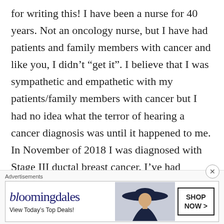for writing this! I have been a nurse for 40 years. Not an oncology nurse, but I have had patients and family members with cancer and like you, I didn't “get it”. I believe that I was sympathetic and empathetic with my patients/family members with cancer but I had no idea what the terror of hearing a cancer diagnosis was until it happened to me. In November of 2018 I was diagnosed with Stage III ductal breast cancer. I’ve had chemotherapy, immunotherapy, surgery and
[Figure (screenshot): Bloomingdale's advertisement banner with logo, 'View Today's Top Deals!' text, a woman in a wide-brim hat, and a 'SHOP NOW >' button]